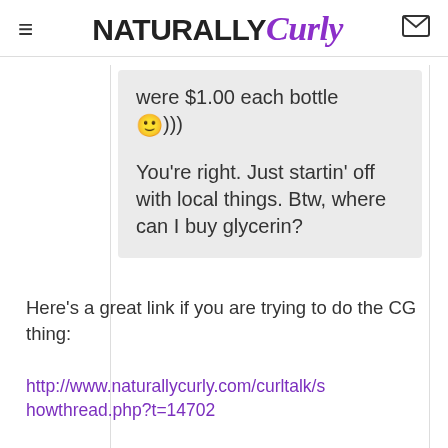NATURALLY Curly
were $1.00 each bottle 🙂)))
You're right. Just startin' off with local things. Btw, where can I buy glycerin?
Here's a great link if you are trying to do the CG thing:
http://www.naturallycurly.com/curltalk/showthread.php?t=14702